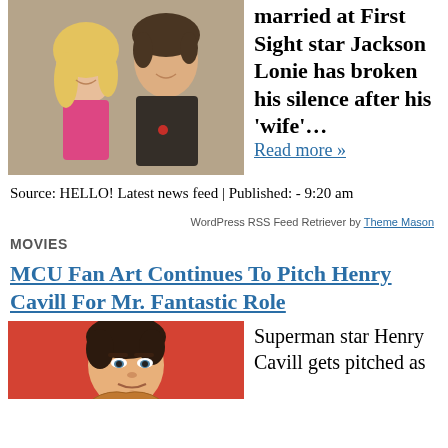[Figure (photo): A smiling couple, a blonde woman in a pink top and a tall dark-haired man in a black shirt, posed together indoors.]
married at First Sight star Jackson Lonie has broken his silence after his 'wife'... Read more »
Source: HELLO! Latest news feed | Published: - 9:20 am
WordPress RSS Feed Retriever by Theme Mason
MOVIES
MCU Fan Art Continues To Pitch Henry Cavill For Mr. Fantastic Role
[Figure (illustration): An illustrated / fan art portrait of Henry Cavill with dark curly hair on a red background.]
Superman star Henry Cavill gets pitched as